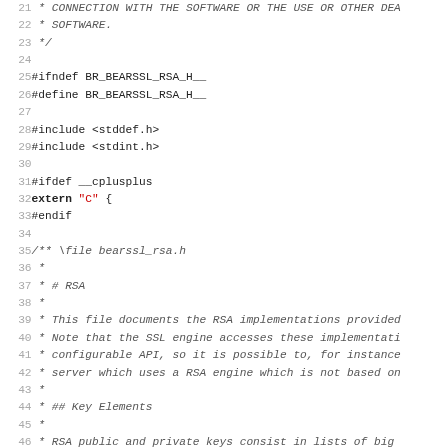Source code listing: bearssl_rsa.h header file, lines 21–52